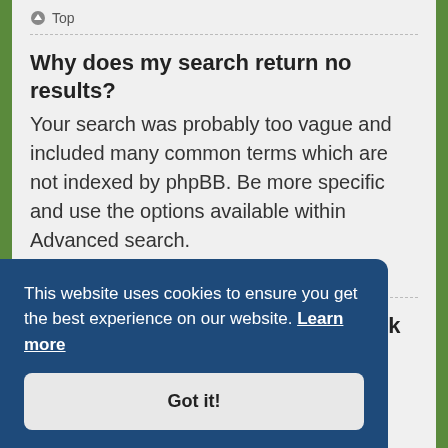Top
Why does my search return no results?
Your search was probably too vague and included many common terms which are not indexed by phpBB. Be more specific and use the options available within Advanced search.
Top
Why does my search return a blank page!?
This website uses cookies to ensure you get the best experience on our website. Learn more
Got it!
Top